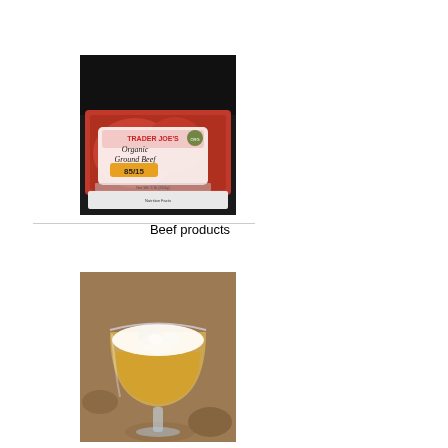[Figure (photo): Trader Joe's Organic Ground Beef 85/15 package photo]
Beef products
[Figure (photo): A cocktail in a coupe glass with white foam on top and golden/yellow liquid below, on a textured surface]